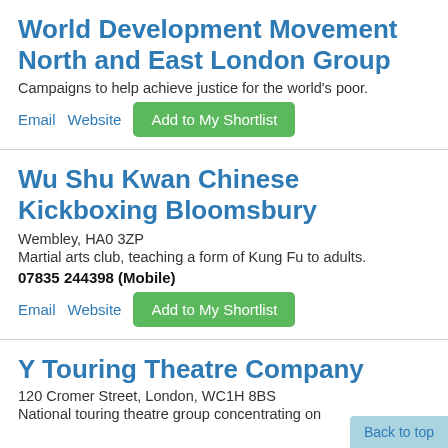World Development Movement North and East London Group
Campaigns to help achieve justice for the world's poor.
Email   Website   Add to My Shortlist
Wu Shu Kwan Chinese Kickboxing Bloomsbury
Wembley, HA0 3ZP
Martial arts club, teaching a form of Kung Fu to adults.
07835 244398 (Mobile)
Email   Website   Add to My Shortlist
Y Touring Theatre Company
120 Cromer Street, London, WC1H 8BS
National touring theatre group concentrating on